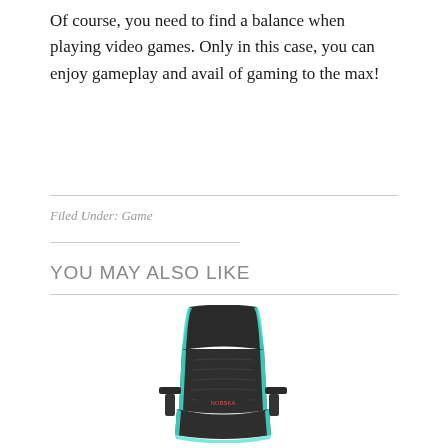Of course, you need to find a balance when playing video games. Only in this case, you can enjoy gameplay and avail of gaming to the max!
Filed Under: Game
YOU MAY ALSO LIKE
[Figure (photo): A black gaming chair with teal/cyan accent trim along the edges and sides, with armrests and a lumbar support pillow bearing a logo.]